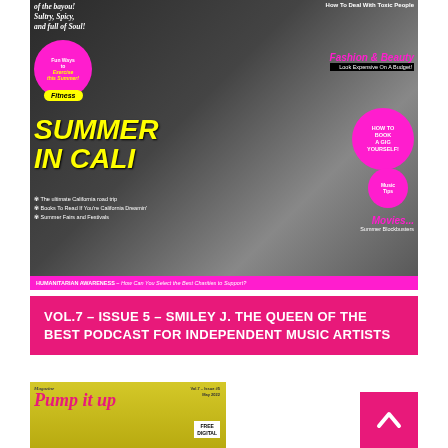[Figure (photo): Magazine cover showing a woman in black jacket playing keyboard/piano with a guitar behind her, with various article headlines overlaid including 'SUMMER IN CALI', Fashion & Beauty, Music Tips, How To Book A Gig Yourself, Fitness bubble, and bottom bar about Humanitarian Awareness]
VOL.7 – ISSUE 5 – SMILEY J. THE QUEEN OF THE BEST PODCAST FOR INDEPENDENT MUSIC ARTISTS
[Figure (photo): Pump It Up Magazine cover showing Vol.7 Issue #5, May 2022 with yellow background and person visible at bottom, FREE DIGITAL edition tag]